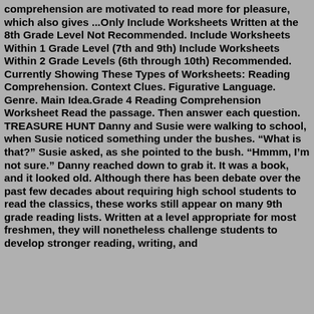comprehension are motivated to read more for pleasure, which also gives ...Only Include Worksheets Written at the 8th Grade Level Not Recommended. Include Worksheets Within 1 Grade Level (7th and 9th) Include Worksheets Within 2 Grade Levels (6th through 10th) Recommended. Currently Showing These Types of Worksheets: Reading Comprehension. Context Clues. Figurative Language. Genre. Main Idea.Grade 4 Reading Comprehension Worksheet Read the passage. Then answer each question. TREASURE HUNT Danny and Susie were walking to school, when Susie noticed something under the bushes. “What is that?” Susie asked, as she pointed to the bush. “Hmmm, I’m not sure.” Danny reached down to grab it. It was a book, and it looked old. Although there has been debate over the past few decades about requiring high school students to read the classics, these works still appear on many 9th grade reading lists. Written at a level appropriate for most freshmen, they will nonetheless challenge students to develop stronger reading, writing, and